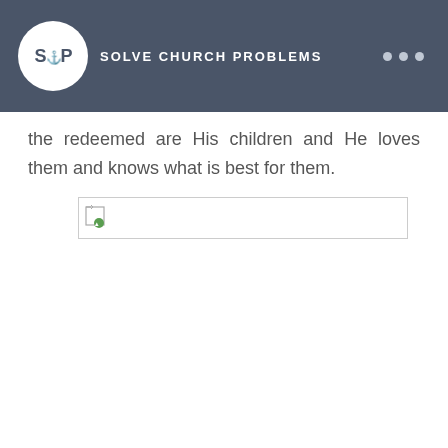[Figure (logo): SCP Solve Church Problems logo with circular emblem and site name, on dark slate header bar with three dot menu icons]
the redeemed are His children and He loves them and knows what is best for them.
[Figure (photo): Broken/missing image placeholder]